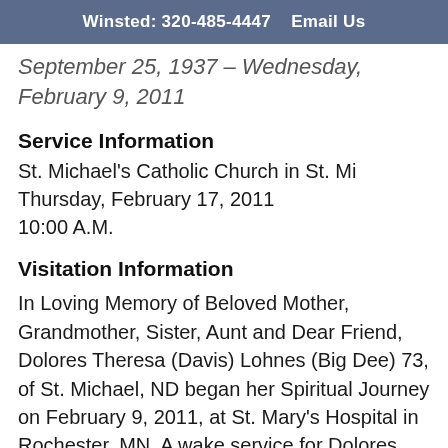Winsted: 320-485-4447   Email Us
September 25, 1937 – Wednesday, February 9, 2011
Service Information
St. Michael's Catholic Church in St. Mi
Thursday, February 17, 2011
10:00 A.M.
Visitation Information
In Loving Memory of Beloved Mother, Grandmother, Sister, Aunt and Dear Friend, Dolores Theresa (Davis) Lohnes (Big Dee) 73, of St. Michael, ND began her Spiritual Journey on February 9, 2011, at St. Mary's Hospital in Rochester, MN. A wake service for Dolores will be held at the St. Michael's Recreational